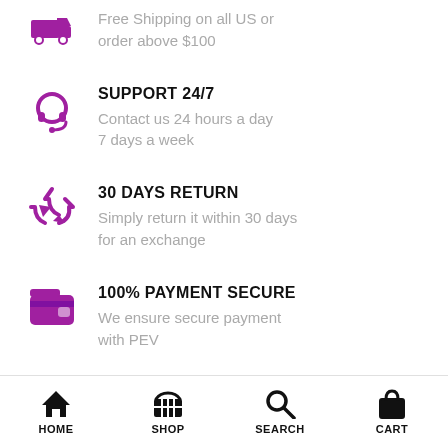[Figure (illustration): Purple delivery truck icon (partially visible at top)]
Free Shipping on all US or order above $100
[Figure (illustration): Purple headset/support icon]
SUPPORT 24/7
Contact us 24 hours a day 7 days a week
[Figure (illustration): Purple recycle/return arrows icon]
30 DAYS RETURN
Simply return it within 30 days for an exchange
[Figure (illustration): Purple wallet/payment icon]
100% PAYMENT SECURE
We ensure secure payment with PEV
HOME   SHOP   SEARCH   CART